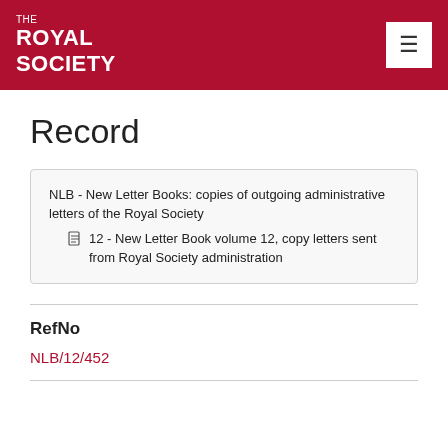THE ROYAL SOCIETY
Record
NLB - New Letter Books: copies of outgoing administrative letters of the Royal Society
12 - New Letter Book volume 12, copy letters sent from Royal Society administration
RefNo
NLB/12/452